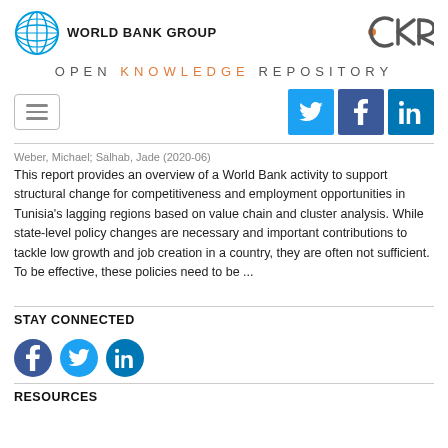[Figure (logo): World Bank Group logo with globe icon and text]
[Figure (logo): OKR Open Knowledge Repository logo]
OPEN KNOWLEDGE REPOSITORY
[Figure (infographic): Navigation hamburger button and social media share buttons for Twitter, Facebook, LinkedIn]
Weber, Michael; Salhab, Jade (2020-06)
This report provides an overview of a World Bank activity to support structural change for competitiveness and employment opportunities in Tunisia's lagging regions based on value chain and cluster analysis. While state-level policy changes are necessary and important contributions to tackle low growth and job creation in a country, they are often not sufficient. To be effective, these policies need to be ...
STAY CONNECTED
[Figure (infographic): Social media icons: Facebook, Twitter, LinkedIn circles]
RESOURCES